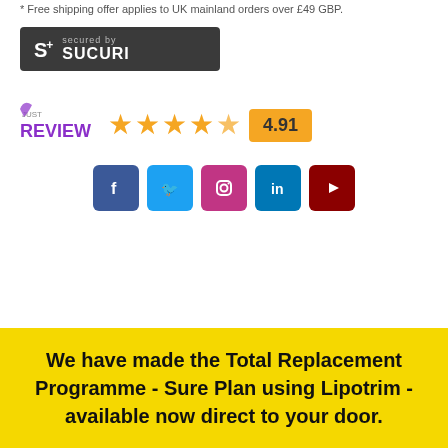* Free shipping offer applies to UK mainland orders over £49 GBP.
[Figure (logo): Sucuri security badge — dark grey background with S+ logo and 'secured by SUCURI' text]
[Figure (infographic): Just Review logo with 5 orange stars and rating box showing 4.91]
[Figure (infographic): Social media icon buttons: Facebook, Twitter, Instagram, LinkedIn, YouTube]
We have made the Total Replacement Programme - Sure Plan using Lipotrim - available now direct to your door.